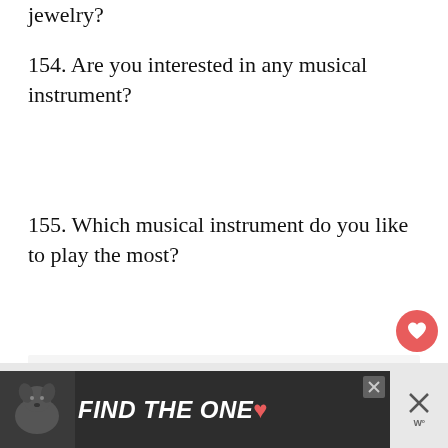jewelry?
154. Are you interested in any musical instrument?
155. Which musical instrument do you like to play the most?
[Figure (screenshot): Advertisement banner: dark background with dog image and text 'FIND THE ONE' with close buttons and a heart icon.]